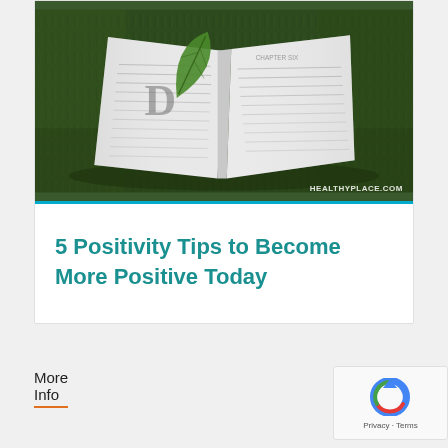[Figure (photo): Open book lying on green grass with a green leaf on top, with 'HEALTHYPLACE.COM' watermark in bottom right]
5 Positivity Tips to Become More Positive Today
More Info